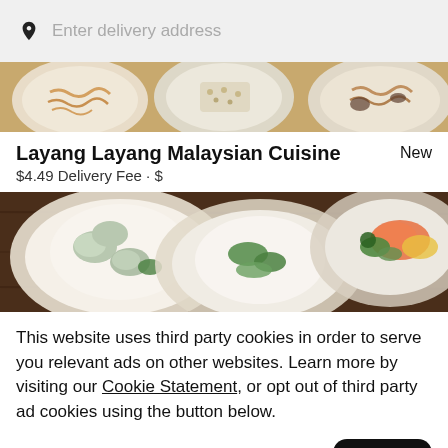Enter delivery address
[Figure (photo): Top strip of food images showing noodles and dishes in white bowls]
Layang Layang Malaysian Cuisine
New
$4.49 Delivery Fee • $
[Figure (photo): Food photo showing dishes with oysters, green vegetables and other items on white plates on a wooden surface]
This website uses third party cookies in order to serve you relevant ads on other websites. Learn more by visiting our Cookie Statement, or opt out of third party ad cookies using the button below.
Opt out
Got it